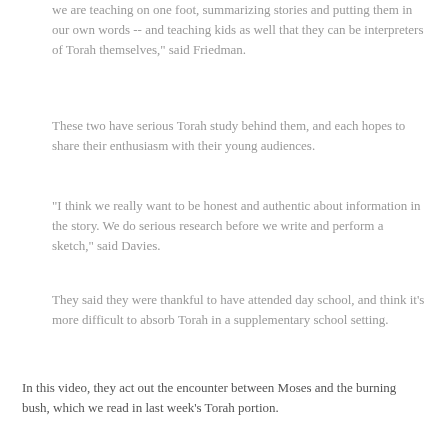we are teaching on one foot, summarizing stories and putting them in our own words -- and teaching kids as well that they can be interpreters of Torah themselves," said Friedman.
These two have serious Torah study behind them, and each hopes to share their enthusiasm with their young audiences.
"I think we really want to be honest and authentic about information in the story. We do serious research before we write and perform a sketch," said Davies.
They said they were thankful to have attended day school, and think it's more difficult to absorb Torah in a supplementary school setting.
In this video, they act out the encounter between Moses and the burning bush, which we read in last week's Torah portion.
Enjoy!
(A SPECIAL NOTE FOR NEW EMAIL SUBSCRIBERS:  THE VIDEO MAY NOT BE VIEWABLE DIRECTLY FROM THE EMAIL THAT YOU GET EACH DAY ON SOME COMPUTERS AND TABLETS.  YOU MUST CLICK ON THE TITLE AT THE TOP OF THE EMAIL TO REACH THE